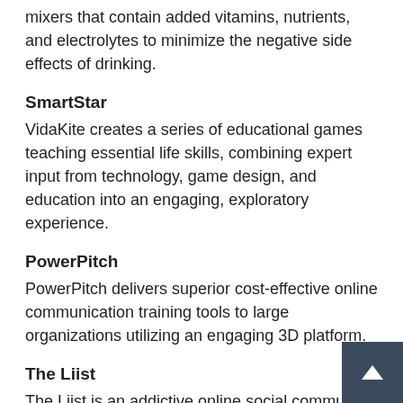mixers that contain added vitamins, nutrients, and electrolytes to minimize the negative side effects of drinking.
SmartStar
VidaKite creates a series of educational games teaching essential life skills, combining expert input from technology, game design, and education into an engaging, exploratory experience.
PowerPitch
PowerPitch delivers superior cost-effective online communication training tools to large organizations utilizing an engaging 3D platform.
The Liist
The Liist is an addictive online social community for established couples, monetized by local “date-destination” businesses.
Intu Sports
Intu Sports produces an intuitive, mobile app that utilizes drag-and-record technology so users can create, store, and share moving diagrams of their basketball plays and strategies.